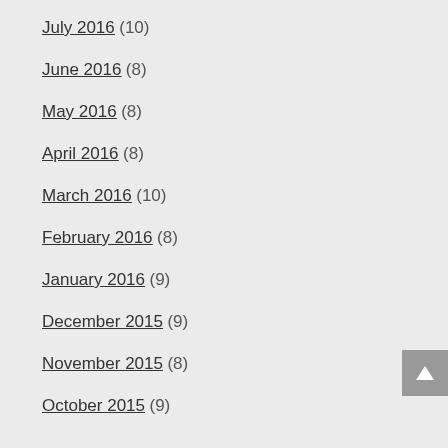July 2016 (10)
June 2016 (8)
May 2016 (8)
April 2016 (8)
March 2016 (10)
February 2016 (8)
January 2016 (9)
December 2015 (9)
November 2015 (8)
October 2015 (9)